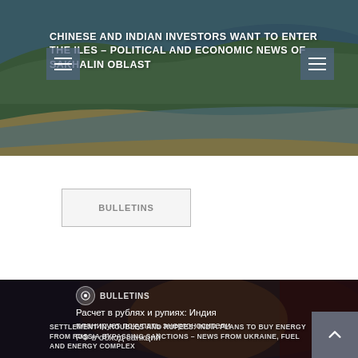[Figure (photo): Top banner showing a coastal landscape with green grass, sandy beach and blue sea, overlaid with a website header title about Chinese and Indian investors and Sakhalin Oblast news]
CHINESE AND INDIAN INVESTORS WANT TO ENTER THE ILES – POLITICAL AND ECONOMIC NEWS OF SAKHALIN OBLAST
BULLETINS
[Figure (photo): Dark photo of two political figures (appearing to be Putin and Modi) shaking hands in front of flags, with Bulletins badge and Russian/English text overlaid about settlement in rubles and rupees]
BULLETINS
Расчет в рублях и рупиях: Индия планирует покупать энергоносители РФ в обход санкций
SETTLEMENT IN ROUBLES AND RUPEES: INDIA PLANS TO BUY ENERGY FROM RUSSIA BYPASSING SANCTIONS – NEWS FROM UKRAINE, FUEL AND ENERGY COMPLEX